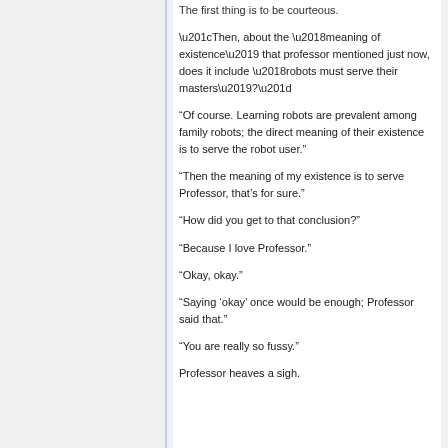The first thing is to be courteous.
“Then, about the ‘meaning of existence’ that professor mentioned just now, does it include ‘robots must serve their masters’?”
“Of course. Learning robots are prevalent among family robots; the direct meaning of their existence is to serve the robot user.”
“Then the meaning of my existence is to serve Professor, that’s for sure.”
“How did you get to that conclusion?”
“Because I love Professor.”
“Okay, okay.”
“Saying ‘okay’ once would be enough; Professor said that.”
“You are really so fussy.”
Professor heaves a sigh.